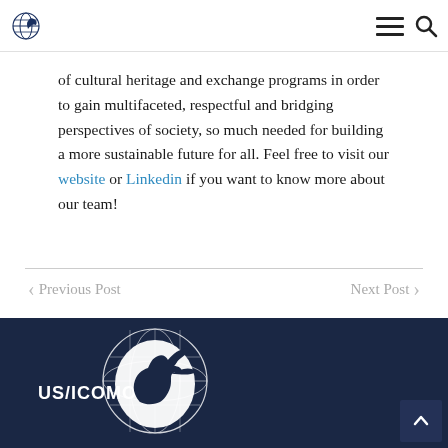US/ICOMOS logo, hamburger menu, search icon
of cultural heritage and exchange programs in order to gain multifaceted, respectful and bridging perspectives of society, so much needed for building a more sustainable future for all. Feel free to visit our website or Linkedin if you want to know more about our team!
< Previous Post   Next Post >
[Figure (logo): US/ICOMOS logo on dark navy blue footer background — globe with horse/Pegasus silhouette and text US/ICOMOS]